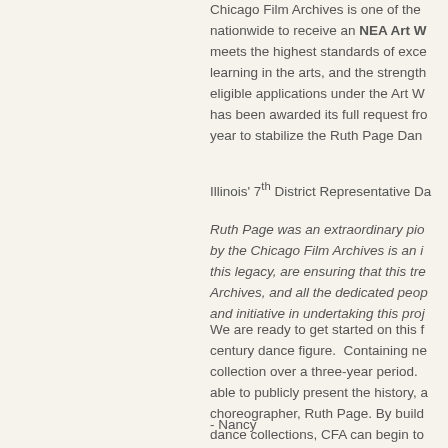Chicago Film Archives is one of the nationwide to receive an NEA Art W meets the highest standards of exce learning in the arts, and the strength eligible applications under the Art W has been awarded its full request fro year to stabilize the Ruth Page Dan
Illinois' 7th District Representative Da
Ruth Page was an extraordinary pio by the Chicago Film Archives is an i this legacy, are ensuring that this tre Archives, and all the dedicated peop and initiative in undertaking this proj
We are ready to get started on this f century dance figure. Containing ne collection over a three-year period. able to publicly present the history, a choreographer, Ruth Page. By buil dance collections, CFA can begin to
- Nancy